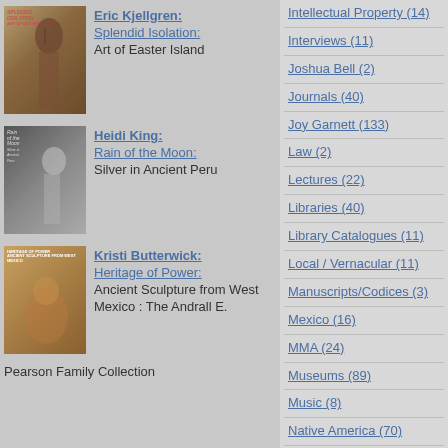[Figure (photo): Book cover: Splendid Isolation - Art of Easter Island, showing a wooden Easter Island statue]
Eric Kjellgren: Splendid Isolation: Art of Easter Island
[Figure (photo): Book cover: Rain of the Moon: Silver in Ancient Peru, showing a silver pre-Columbian figurine]
Heidi King: Rain of the Moon: Silver in Ancient Peru
[Figure (photo): Book cover: Heritage of Power: Ancient Sculpture from West Mexico, showing a ceramic seated figure]
Kristi Butterwick: Heritage of Power: Ancient Sculpture from West Mexico : The Andrall E. Pearson Family Collection
Intellectual Property (14)
Interviews (11)
Joshua Bell (2)
Journals (40)
Joy Garnett (133)
Law (2)
Lectures (22)
Libraries (40)
Library Catalogues (11)
Local / Vernacular (11)
Manuscripts/Codices (3)
Mexico (16)
MMA (24)
Museums (89)
Music (8)
Native America (70)
New Arrivals (10)
New York (46)